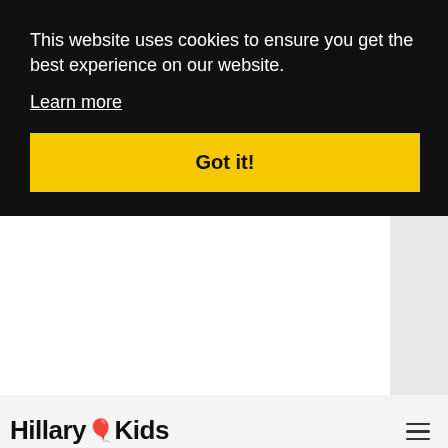This website uses cookies to ensure you get the best experience on our website.
Learn more
Got it!
[Figure (logo): HillaryKids logo with balloon emoji]
GENERAL
I'm Out Of Privileges -- Now What? (Ages 6 To 8)